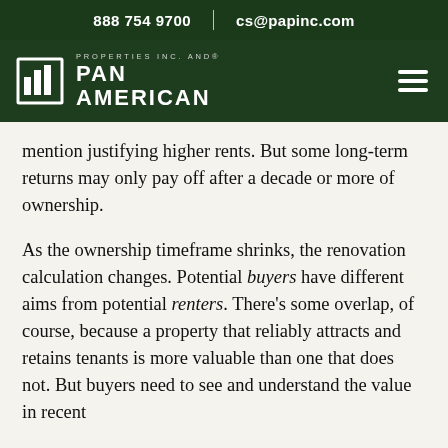888 754 9700   |   cs@papinc.com
[Figure (logo): Pan American Properties Inc. and® logo with building icon on dark green navigation bar with hamburger menu]
mention justifying higher rents. But some long-term returns may only pay off after a decade or more of ownership.
As the ownership timeframe shrinks, the renovation calculation changes. Potential buyers have different aims from potential renters. There's some overlap, of course, because a property that reliably attracts and retains tenants is more valuable than one that does not. But buyers need to see and understand the value in recent